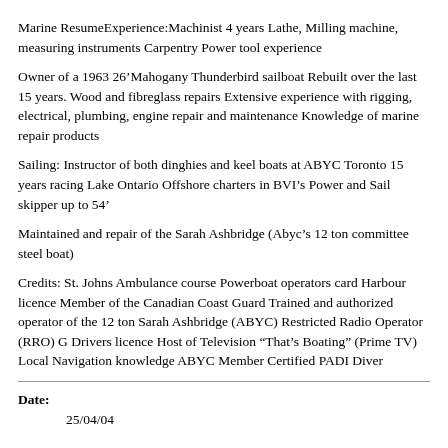Marine ResumeExperience:Machinist 4 years Lathe, Milling machine, measuring instruments Carpentry Power tool experience
Owner of a 1963 26’Mahogany Thunderbird sailboat Rebuilt over the last 15 years. Wood and fibreglass repairs Extensive experience with rigging, electrical, plumbing, engine repair and maintenance Knowledge of marine repair products
Sailing: Instructor of both dinghies and keel boats at ABYC Toronto 15 years racing Lake Ontario Offshore charters in BVI’s Power and Sail skipper up to 54’
Maintained and repair of the Sarah Ashbridge (Abyc’s 12 ton committee steel boat)
Credits: St. Johns Ambulance course Powerboat operators card Harbour licence Member of the Canadian Coast Guard Trained and authorized operator of the 12 ton Sarah Ashbridge (ABYC) Restricted Radio Operator (RRO) G Drivers licence Host of Television “That’s Boating” (Prime TV) Local Navigation knowledge ABYC Member Certified PADI Diver
Date:
25/04/04